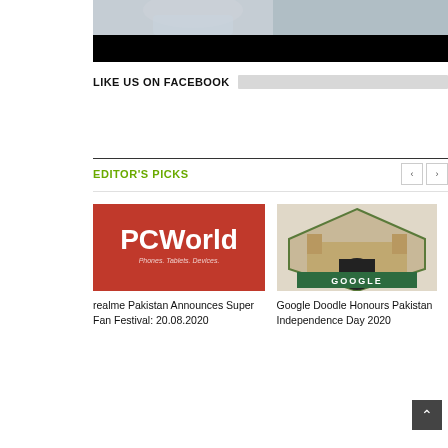[Figure (photo): Partial photo of a person, cropped at top of page, dark black bar at bottom]
LIKE US ON FACEBOOK
EDITOR'S PICKS
[Figure (logo): PCWorld logo on red background with tagline Phones. Tablets. Devices.]
realme Pakistan Announces Super Fan Festival: 20.08.2020
[Figure (illustration): Google Doodle for Pakistan Independence Day 2020 showing a fort/gate with GOOGLE text]
Google Doodle Honours Pakistan Independence Day 2020